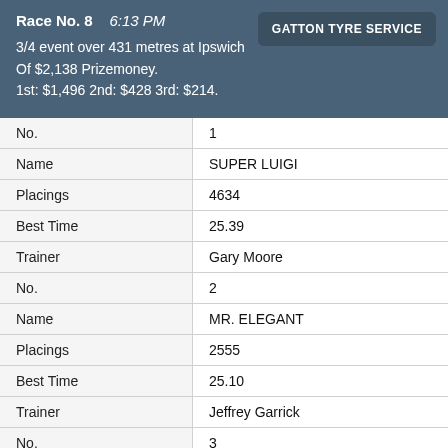Race No. 8   6:13 PM
3/4 event over 431 metres at Ipswich Of $2,138 Prizemoney. 1st: $1,496 2nd: $428 3rd: $214.
GATTON TYRE SERVICE
| Field | Value |
| --- | --- |
| No. | 1 |
| Name | SUPER LUIGI |
| Placings | 4634 |
| Best Time | 25.39 |
| Trainer | Gary Moore |
| No. | 2 |
| Name | MR. ELEGANT |
| Placings | 2555 |
| Best Time | 25.10 |
| Trainer | Jeffrey Garrick |
| No. | 3 |
| Name | VICKI ROSE HI |
| Placings | 7315 |